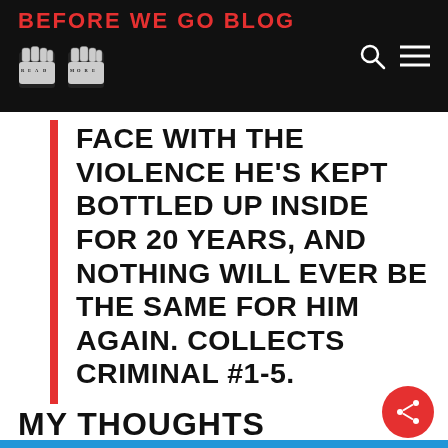BEFORE WE GO BLOG
FACE WITH THE VIOLENCE HE'S KEPT BOTTLED UP INSIDE FOR 20 YEARS, AND NOTHING WILL EVER BE THE SAME FOR HIM AGAIN. COLLECTS CRIMINAL #1-5.
MY THOUGHTS
[Figure (photo): Comic book cover showing 'Number One' text on a blue background with stylized white lettering, partially visible at bottom of page]